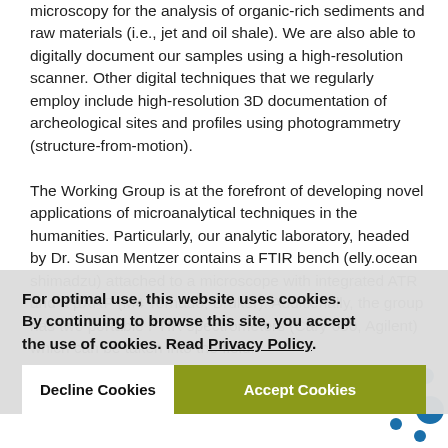microscopy for the analysis of organic-rich sediments and raw materials (i.e., jet and oil shale). We are also able to digitally document our samples using a high-resolution scanner. Other digital techniques that we regularly employ include high-resolution 3D documentation of archeological sites and profiles using photogrammetry (structure-from-motion).

The Working Group is at the forefront of developing novel applications of microanalytical techniques in the humanities. Particularly, our analytic laboratory, headed by Dr. Susan Mentzer contains a FTIR bench (elly.ocean shimadzu) attached to a microscope with integrated ATR and a µXRF (M4 Tornado, Bruker). Additionally, the group has two portable FTIR spectrometers (Cary 630, Agilent) which can be taken into the field.
For optimal use, this website uses cookies. By continuing to browse this site, you accept the use of cookies. Read Privacy Policy.
Decline Cookies   Accept Cookies